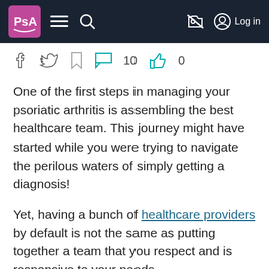PsA | menu | search | (no image) | Log in
[Figure (screenshot): Social sharing and action icons bar: Facebook, Twitter, Bookmark, Comment (10), Thumbs up (0)]
One of the first steps in managing your psoriatic arthritis is assembling the best healthcare team. This journey might have started while you were trying to navigate the perilous waters of simply getting a diagnosis!
Yet, having a bunch of healthcare providers by default is not the same as putting together a team that you respect and is responsive to your needs.